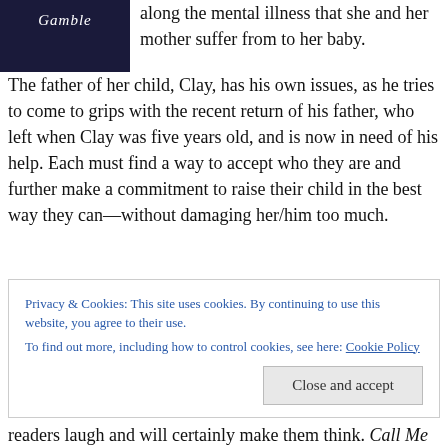[Figure (illustration): Book cover with dark night sky background and italic title 'Gamble' in white text]
along the mental illness that she and her mother suffer from to her baby. The father of her child, Clay, has his own issues, as he tries to come to grips with the recent return of his father, who left when Clay was five years old, and is now in need of his help. Each must find a way to accept who they are and further make a commitment to raise their child in the best way they can—without damaging her/him too much.
Privacy & Cookies: This site uses cookies. By continuing to use this website, you agree to their use.
To find out more, including how to control cookies, see here: Cookie Policy
Close and accept
readers laugh and will certainly make them think. Call Me